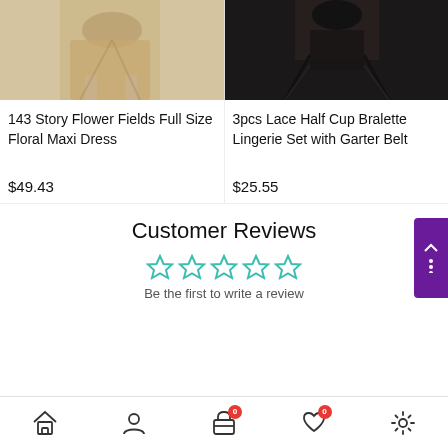[Figure (photo): Product photo of a floral maxi dress - beige/gold fabric, model wearing it with sandals]
[Figure (photo): Product photo of black lace lingerie set with garter belt on model]
143 Story Flower Fields Full Size Floral Maxi Dress
$49.43
3pcs Lace Half Cup Bralette Lingerie Set with Garter Belt
$25.55
Customer Reviews
Be the first to write a review
Home | Account | Cart (0) | Wishlist (0) | Settings